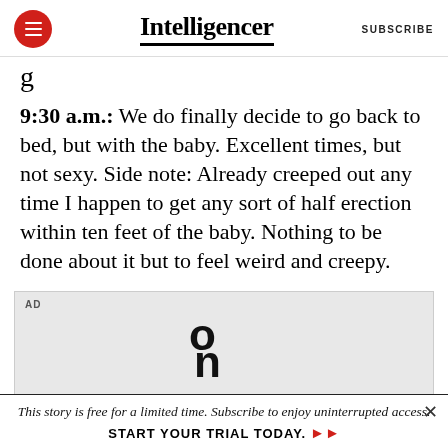Intelligencer | SUBSCRIBE
g
9:30 a.m.: We do finally decide to go back to bed, but with the baby. Excellent times, but not sexy. Side note: Already creeped out any time I happen to get any sort of half erection within ten feet of the baby. Nothing to be done about it but to feel weird and creepy.
[Figure (other): Advertisement banner with On Running logo (stylized 'on' text)]
This story is free for a limited time. Subscribe to enjoy uninterrupted access. START YOUR TRIAL TODAY. ▶▶